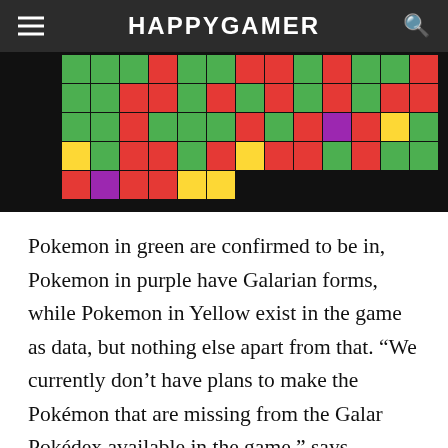HAPPYGAMER
[Figure (infographic): Pokemon availability grid with colored tiles (green = confirmed, purple = Galarian forms, red = not available, yellow = data only). Shows rows of small Pokemon sprites on colored backgrounds.]
Pokemon in green are confirmed to be in, Pokemon in purple have Galarian forms, while Pokemon in Yellow exist in the game as data, but nothing else apart from that. “We currently don’t have plans to make the Pokémon that are missing from the Galar Pokédex available in the game,” says Masuda. “This is an approach